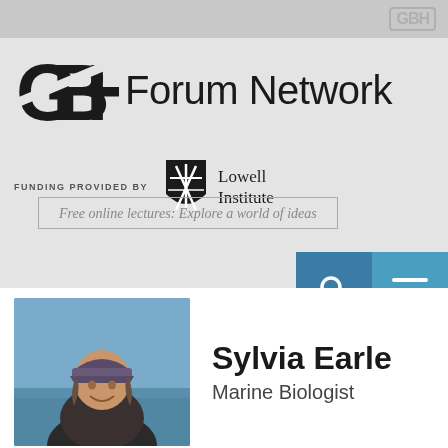[Figure (logo): GBH logo watermark in top-right corner of gray banner]
[Figure (logo): GBH Forum Network logo with shield and 'Forum Network' text]
FUNDING PROVIDED BY
[Figure (logo): Lowell Institute shield logo with text 'Lowell Institute']
Free online lectures: Explore a world of ideas
[Figure (screenshot): Search and menu navigation buttons (teal/blue squares)]
[Figure (photo): Portrait photo of Sylvia Earle wearing a cap and wetsuit outdoors near water]
Sylvia Earle
Marine Biologist